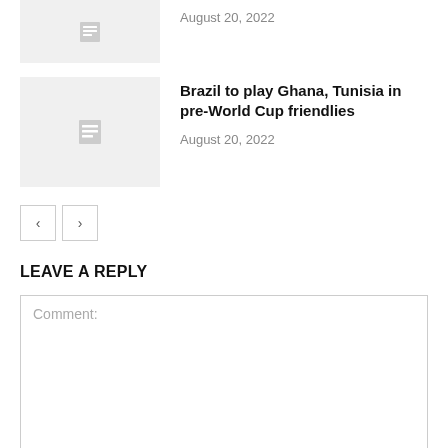[Figure (photo): Placeholder thumbnail image for first article (partially visible at top)]
August 20, 2022
[Figure (photo): Placeholder thumbnail image with document icon for second article]
Brazil to play Ghana, Tunisia in pre-World Cup friendlies
August 20, 2022
< >
LEAVE A REPLY
Comment: